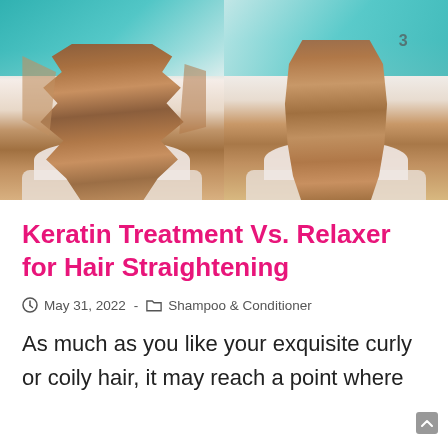[Figure (photo): Before and after comparison photo of hair straightening treatment. Left side shows a woman with wavy/frizzy auburn hair viewed from behind in a salon. Right side shows the same woman (or similar) with sleek, straight, glossy auburn hair after treatment. Background shows a modern salon with teal/turquoise decor.]
Keratin Treatment Vs. Relaxer for Hair Straightening
May 31, 2022 - Shampoo & Conditioner
As much as you like your exquisite curly or coily hair, it may reach a point where